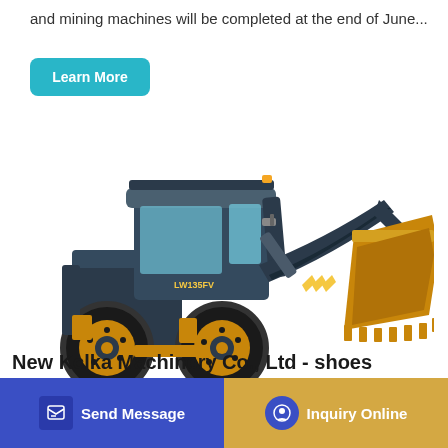and mining machines will be completed at the end of June...
Learn More
[Figure (photo): Yellow and dark grey wheel loader (front-end loader) with model label LW135FV, featuring a large bucket attachment at the front, four large rubber tires, and an enclosed cab. The machine is white-background product photo.]
New Kclka Machinery Co., Ltd - shoes
Send Message
Inquiry Online